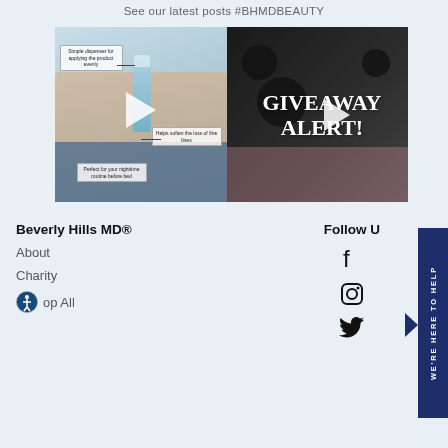See our latest posts #BHMDBEAUTY
[Figure (photo): Two social media post thumbnails side by side. Left: video of hands holding a skincare product with annotations: 'Simple dispenser for applying the product evenly', 'Helps soften the loss of fine lines', 'Perfect for your nighttime routine before bed'. Right: giveaway alert video thumbnail with text 'GIVEAWAY ALERT!' over dark cosmetics on pink background.]
Beverly Hills MD®
Follow U
About
Charity
Shop All
[Figure (logo): Accessibility icon - circular blue badge]
[Figure (illustration): Facebook icon]
[Figure (illustration): Instagram icon]
[Figure (illustration): Twitter/bird icon]
WE'RE HERE TO HELP